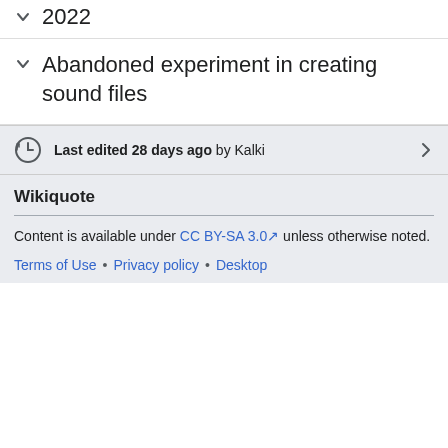2022
Abandoned experiment in creating sound files
Last edited 28 days ago by Kalki
Wikiquote
Content is available under CC BY-SA 3.0 unless otherwise noted.
Terms of Use • Privacy policy • Desktop